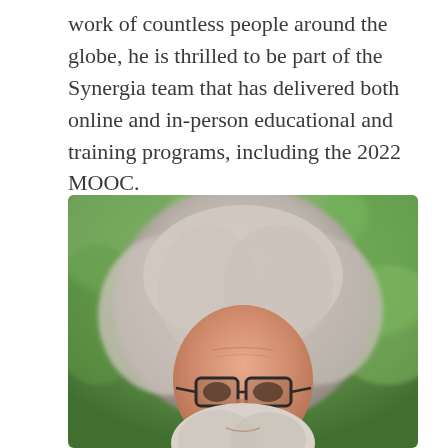work of countless people around the globe, he is thrilled to be part of the Synergia team that has delivered both online and in-person educational and training programs, including the 2022 MOOC.
[Figure (photo): Close-up photograph of an older man with curly white/grey hair and a white beard, wearing dark-framed glasses, looking upward. Background shows out-of-focus green foliage/trees.]